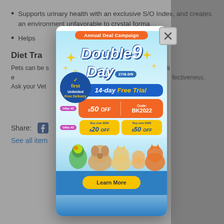Supports urinary health with an exclusive S/O Index, and creates an environment unfavorable to crystal forma...
Helps... ring.
Diet Tra...
Pets can be s... For this reason, it is e... transition plan to best... fectiveness. Ask your Vet... n your pet to a new foo...
Share:
See all item...
[Figure (infographic): Annual Deal Campaign popup for Double 9 Day (27/8-9/9). Shows: first Unlimited Free Delivery badge; Offer #1: 14-day Free Trial; Offer #2: $50 OFF Code: BK2022; Offer #3: Buy over $200 get $20 OFF, Buy over $300 get $50 OFF. Pet images at bottom. Learn More button.]